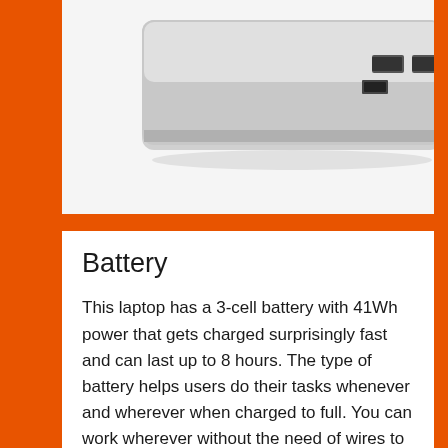[Figure (photo): Partial view of a laptop showing its ports (USB, HDMI, headphone jack) on the side, silver/aluminum body, photographed from the side against a white background.]
Battery
This laptop has a 3-cell battery with 41Wh power that gets charged surprisingly fast and can last up to 8 hours. The type of battery helps users do their tasks whenever and wherever when charged to full. You can work wherever without the need of wires to charge it. This is one of the most outstanding features that distincts this laptop from others.
It is very convenient, isn't it? However,